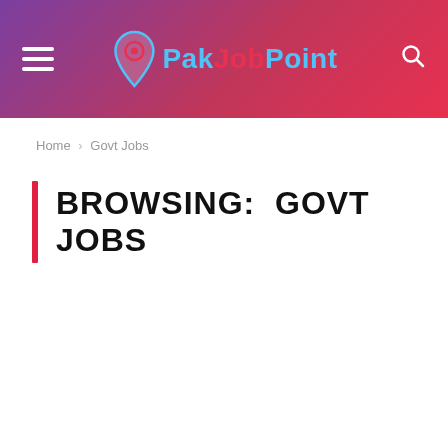PakJobPoint
Home › Govt Jobs
BROWSING:  GOVT JOBS